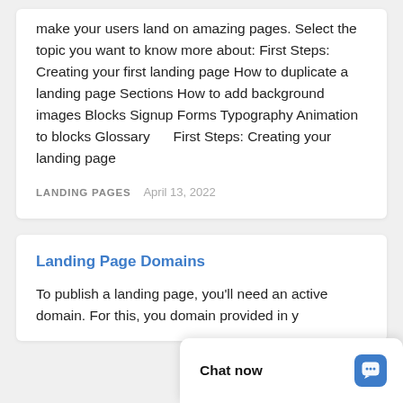make your users land on amazing pages. Select the topic you want to know more about: First Steps: Creating your first landing page How to duplicate a landing page Sections How to add background images Blocks Signup Forms Typography Animation to blocks Glossary    First Steps: Creating your landing page
LANDING PAGES   April 13, 2022
Landing Page Domains
To publish a landing page, you'll need an active domain. For this, you domain provided in y
Chat now